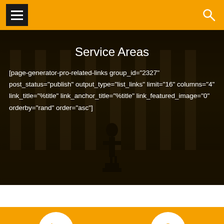Navigation header with menu and search icons
Service Areas
[page-generator-pro-related-links group_id="2327" post_status="publish" output_type="list_links" limit="16" columns="4" link_title="%title" link_anchor_title="%title" link_featured_image="0" orderby="rand" order="asc"]
[Figure (illustration): Orange footer bar with two circular white icon buttons: a phone icon and a location pin icon]
[Figure (photo): Darkened background hero image showing a building with columns and a silhouette statue]